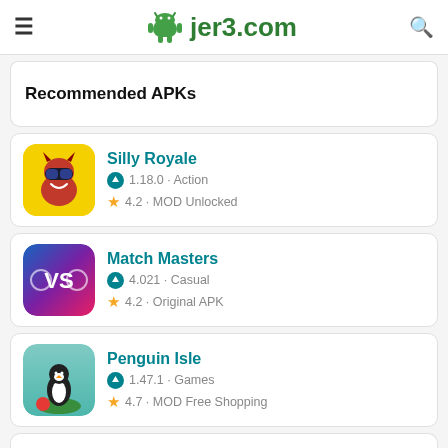jer3.com
Recommended APKs
Silly Royale · 1.18.0 · Action · 4.2 · MOD Unlocked
Match Masters · 4.021 · Casual · 4.2 · Original APK
Penguin Isle · 1.47.1 · Games · 4.7 · MOD Free Shopping